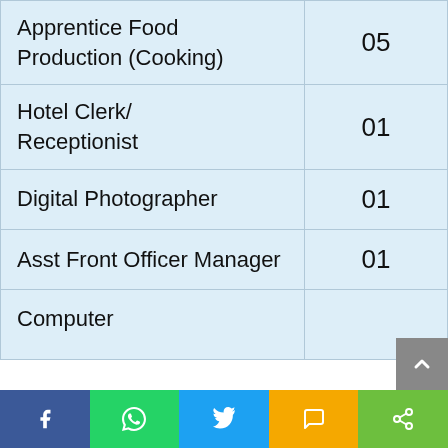| Apprentice Food Production (Cooking) | 05 |
| Hotel Clerk/ Receptionist | 01 |
| Digital Photographer | 01 |
| Asst Front Officer Manager | 01 |
| Computer |  |